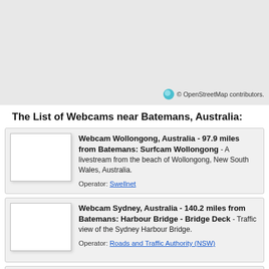[Figure (map): Map area showing region near Batemans, Australia with OpenStreetMap tiles]
© OpenStreetMap contributors.
The List of Webcams near Batemans, Australia:
Webcam Wollongong, Australia - 97.9 miles from Batemans: Surfcam Wollongong - A livestream from the beach of Wollongong, New South Wales, Australia. Operator: Swellnet
Webcam Sydney, Australia - 140.2 miles from Batemans: Harbour Bridge - Bridge Deck - Traffic view of the Sydney Harbour Bridge. Operator: Roads and Traffic Authority (NSW)
Webcam Sydney, Australia - 140.2 miles from Batemans: Harbour Bridge / Opera House - View from Potts Point over Woolloomooloo towards the